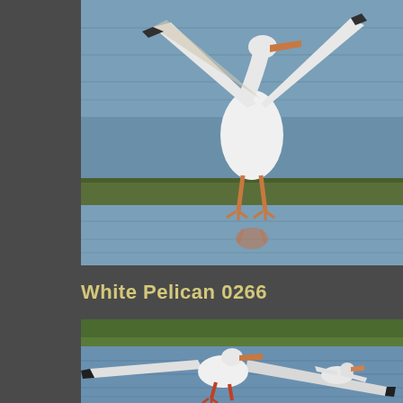[Figure (photo): White pelican with wings spread wide walking on water surface, orange legs, white feathers with dark tips, water and green algae strip visible in background]
White Pelican 0266
[Figure (photo): White pelican landing on water with wings fully extended showing black wing tips, orange-red beak and feet, another pelican visible in background on calm blue water with green shrubs in far background]